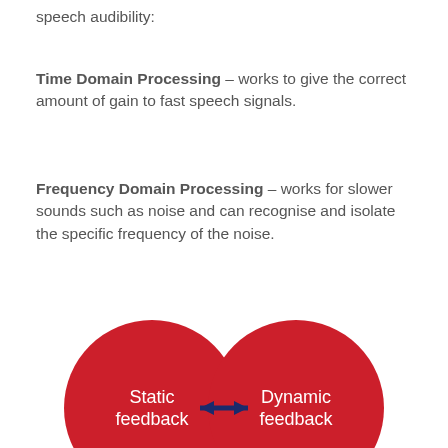speech audibility:
Time Domain Processing – works to give the correct amount of gain to fast speech signals.
Frequency Domain Processing – works for slower sounds such as noise and can recognise and isolate the specific frequency of the noise.
[Figure (infographic): Two red circles labeled 'Static feedback' and 'Dynamic feedback' connected by a double-headed dark blue arrow pointing in both directions.]